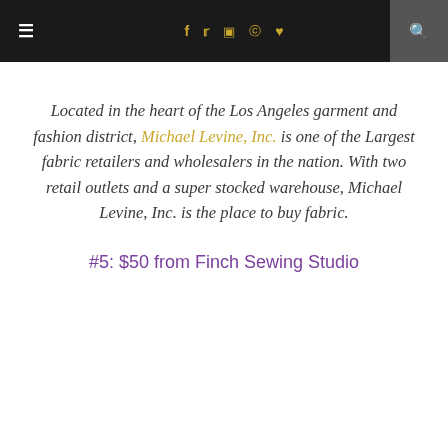≡  f  🐦  📷  pinterest  ♥  🔍
Located in the heart of the Los Angeles garment and fashion district, Michael Levine, Inc. is one of the Largest fabric retailers and wholesalers in the nation. With two retail outlets and a super stocked warehouse, Michael Levine, Inc. is the place to buy fabric.
#5: $50 from Finch Sewing Studio